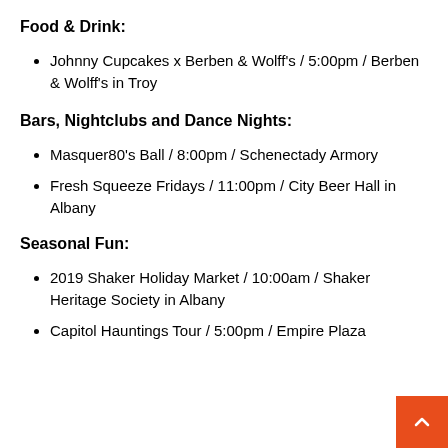Food & Drink:
Johnny Cupcakes x Berben & Wolff's / 5:00pm / Berben & Wolff's in Troy
Bars, Nightclubs and Dance Nights:
Masquer80's Ball / 8:00pm / Schenectady Armory
Fresh Squeeze Fridays / 11:00pm / City Beer Hall in Albany
Seasonal Fun:
2019 Shaker Holiday Market / 10:00am / Shaker Heritage Society in Albany
Capitol Hauntings Tour / 5:00pm / Empire Plaza